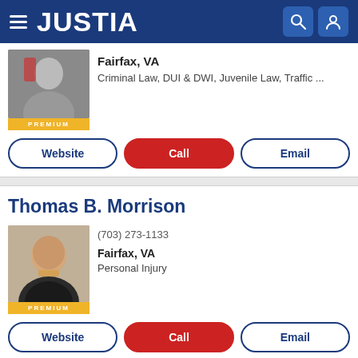[Figure (screenshot): Justia website navigation bar with hamburger menu, JUSTIA logo, search icon, and user icon on dark blue background]
Fairfax, VA
Criminal Law, DUI & DWI, Juvenile Law, Traffic ...
PREMIUM
Website  Call  Email
Thomas B. Morrison
(703) 273-1133
Fairfax, VA
Personal Injury
PREMIUM
Website  Call  Email
Merritt James Green PRO
McLean, VA